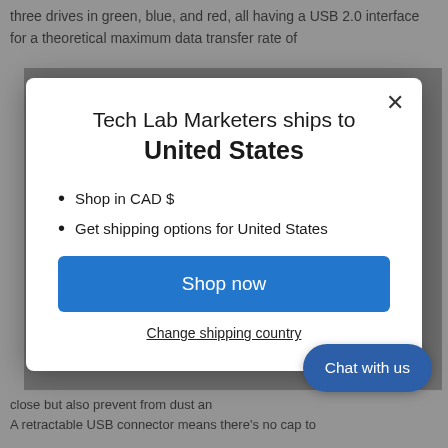three drives in green, blue, and red, all having a USB 2.0 interface for a theoretical maximum data transfer rate of
Tech Lab Marketers ships to United States
Shop in CAD $
Get shipping options for United States
Shop now
Change shipping country
Chat with us
close but also prevent from dust and A retractable USB connector means there's no cap to